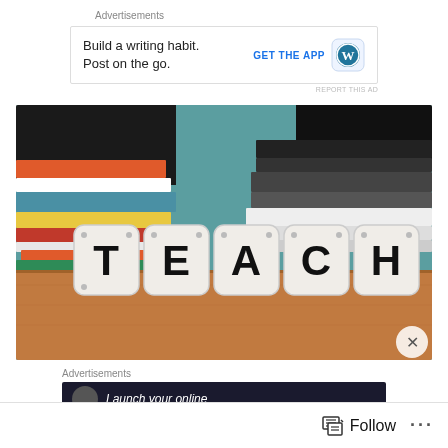Advertisements
[Figure (screenshot): WordPress advertisement banner: 'Build a writing habit. Post on the go.' with GET THE APP button and WordPress logo]
[Figure (photo): Photograph of letter dice spelling 'TEACH' on a wooden surface with stacks of books in the background]
Advertisements
[Figure (screenshot): Dark advertisement banner showing 'Launch your online...' text partially visible]
Follow
···